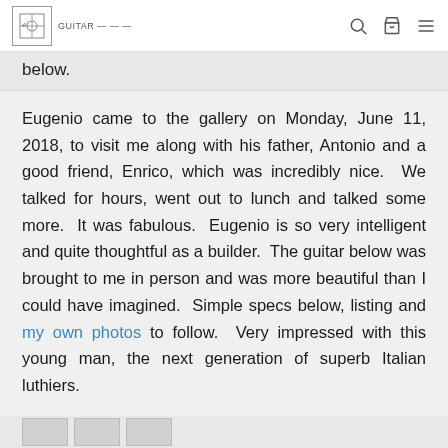[Logo] [Search] [Cart] [Menu]
below.
Eugenio came to the gallery on Monday, June 11, 2018, to visit me along with his father, Antonio and a good friend, Enrico, which was incredibly nice.  We talked for hours, went out to lunch and talked some more.  It was fabulous.  Eugenio is so very intelligent and quite thoughtful as a builder.  The guitar below was brought to me in person and was more beautiful than I could have imagined.  Simple specs below, listing and my own photos to follow.  Very impressed with this young man, the next generation of superb Italian luthiers.
[Figure (photo): Thumbnail images at the bottom of the page]